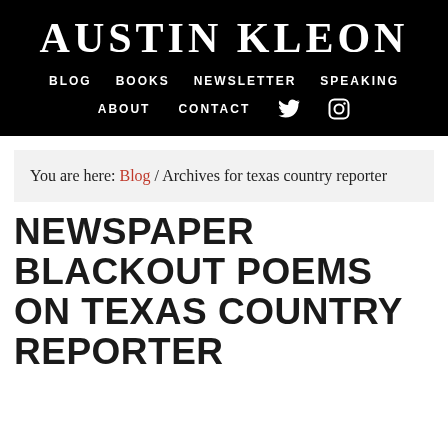AUSTIN KLEON
BLOG  BOOKS  NEWSLETTER  SPEAKING  ABOUT  CONTACT
You are here: Blog / Archives for texas country reporter
NEWSPAPER BLACKOUT POEMS ON TEXAS COUNTRY REPORTER